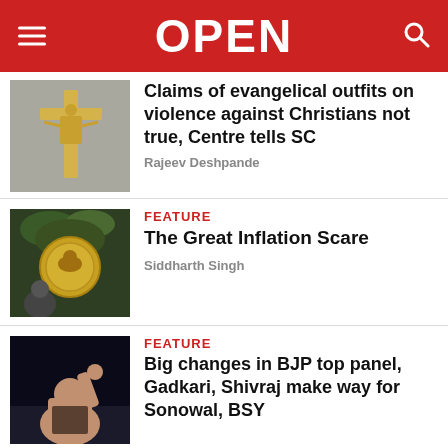OPEN
Claims of evangelical outfits on violence against Christians not true, Centre tells SC
Rajeev Deshpande
FEATURE
The Great Inflation Scare
Siddharth Singh
FEATURE
Big changes in BJP top panel, Gadkari, Shivraj make way for Sonowal, BSY